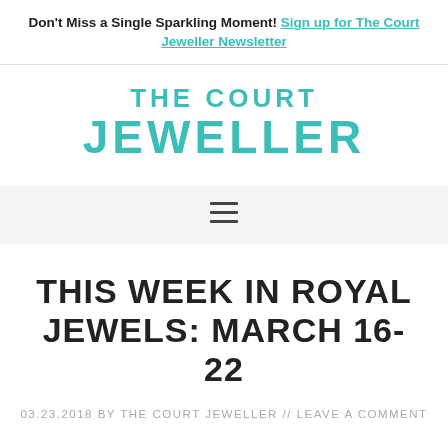Don't Miss a Single Sparkling Moment! Sign up for The Court Jeweller Newsletter
[Figure (logo): The Court Jeweller logo in teal/turquoise uppercase letters]
[Figure (other): Hamburger menu icon (three horizontal lines) on a light gray background navigation bar]
THIS WEEK IN ROYAL JEWELS: MARCH 16-22
03.23.2018 by THE COURT JEWELLER // LEAVE A COMMENT